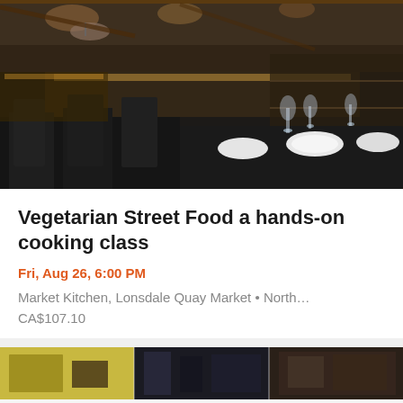[Figure (photo): Interior of a market restaurant with dark tablecloths, wine glasses, white plates set on tables, and a market/deli counter visible in the background with warm lighting]
Vegetarian Street Food a hands-on cooking class
Fri, Aug 26, 6:00 PM
Market Kitchen, Lonsdale Quay Market • North…
CA$107.10
[Figure (photo): Partial view of another event listing photo showing what appears to be a market or store interior]